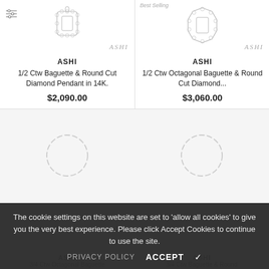[Figure (photo): Diamond pendant jewelry image with baguette and round cut diamonds, ASHI watermark]
ASHI
1/2 Ctw Baguette & Round Cut Diamond Pendant in 14K.
$2,090.00
[Figure (photo): Octagonal diamond pendant/ring jewelry image with Best Selling badge, ASHI watermark]
ASHI
1/2 Ctw Octagonal Baguette & Round Cut Diamond...
$3,060.00
[Figure (other): Loading spinner dashed circle placeholder for product image (left)]
[Figure (other): Loading spinner dashed circle placeholder for product image (right)]
The cookie settings on this website are set to 'allow all cookies' to give you the very best experience. Please click Accept Cookies to continue to use the site.
PRIVACY POLICY   ACCEPT ✓
ASHI
3/4 Ctw Octagonal Baguette
ASHI
3/4 Ctw Baguette & Round